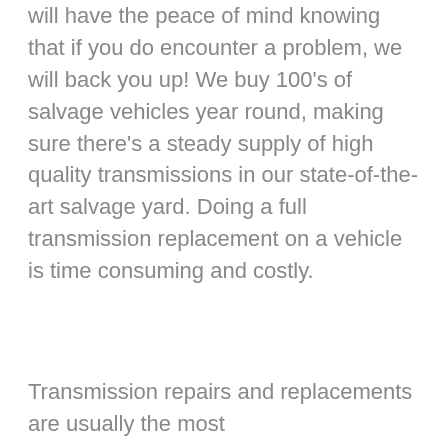will have the peace of mind knowing that if you do encounter a problem, we will back you up! We buy 100's of salvage vehicles year round, making sure there's a steady supply of high quality transmissions in our state-of-the-art salvage yard. Doing a full transmission replacement on a vehicle is time consuming and costly.
Transmission repairs and replacements are usually the most